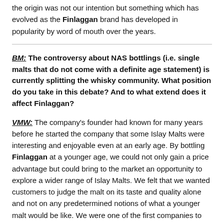the origin was not our intention but something which has evolved as the Finlaggan brand has developed in popularity by word of mouth over the years.
BM: The controversy about NAS bottlings (i.e. single malts that do not come with a definite age statement) is currently splitting the whisky community. What position do you take in this debate? And to what extend does it affect Finlaggan?
VMW: The company’s founder had known for many years before he started the company that some Islay Malts were interesting and enjoyable even at an early age. By bottling Finlaggan at a younger age, we could not only gain a price advantage but could bring to the market an opportunity to explore a wider range of Islay Malts. We felt that we wanted customers to judge the malt on its taste and quality alone and not on any predetermined notions of what a younger malt would be like. We were one of the first companies to use NAS and it's now a model for many brands.